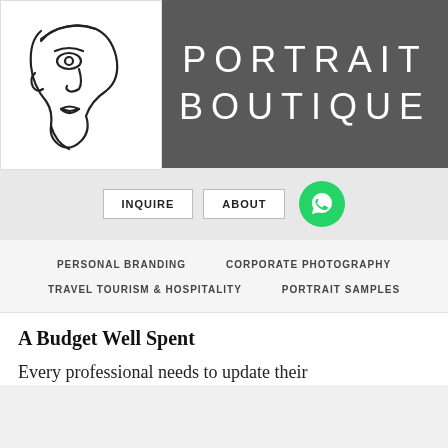[Figure (logo): Portrait Boutique logo: abstract single-line drawing of a face on white background, next to dark grey rectangle with text PORTRAIT BOUTIQUE in wide-spaced white letters]
PORTRAIT BOUTIQUE
INQUIRE   ABOUT
PERSONAL BRANDING   CORPORATE PHOTOGRAPHY
TRAVEL TOURISM & HOSPITALITY   PORTRAIT SAMPLES
A Budget Well Spent
Every professional needs to update their